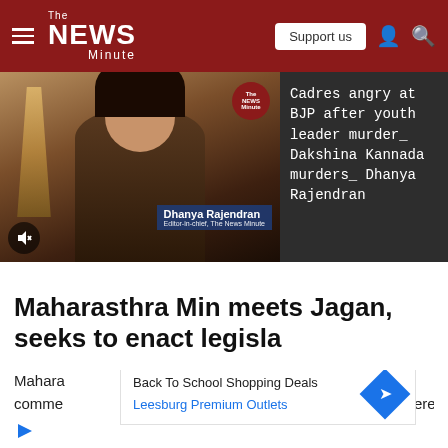The News Minute
[Figure (screenshot): Video thumbnail showing Dhanya Rajendran, Editor-in-chief of The News Minute, with name tag overlay and mute button]
Cadres angry at BJP after youth leader murder_ Dakshina Kannada murders_ Dhanya Rajendran
Maharasthra Min meets Jagan, seeks to enact legisla
Mahara...as comme...ere
Back To School Shopping Deals
Leesburg Premium Outlets